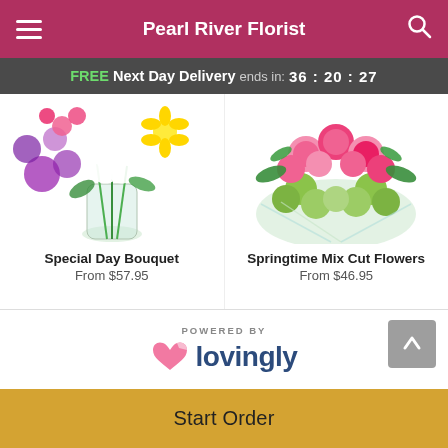Pearl River Florist
FREE Next Day Delivery ends in: 36:20:27
[Figure (photo): Special Day Bouquet flower arrangement with white lilies and purple orchids in a glass vase]
Special Day Bouquet
From $57.95
[Figure (photo): Springtime Mix Cut Flowers arrangement with pink carnations and green pompoms]
Springtime Mix Cut Flowers
From $46.95
POWERED BY lovingly
Start Order